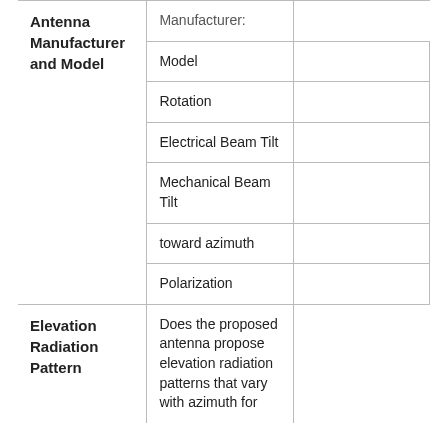| Antenna Manufacturer and Model | Manufacturer: |  |
|  | Model |  |
|  | Rotation |  |
|  | Electrical Beam Tilt |  |
|  | Mechanical Beam Tilt |  |
|  | toward azimuth |  |
|  | Polarization |  |
| Elevation Radiation Pattern | Does the proposed antenna propose elevation radiation patterns that vary with azimuth for |  |